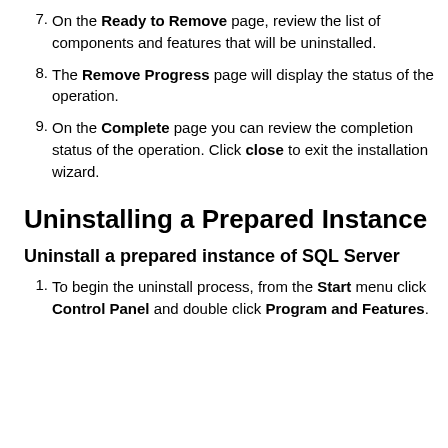7. On the Ready to Remove page, review the list of components and features that will be uninstalled.
8. The Remove Progress page will display the status of the operation.
9. On the Complete page you can review the completion status of the operation. Click close to exit the installation wizard.
Uninstalling a Prepared Instance
Uninstall a prepared instance of SQL Server
1. To begin the uninstall process, from the Start menu click Control Panel and double click Program and Features.